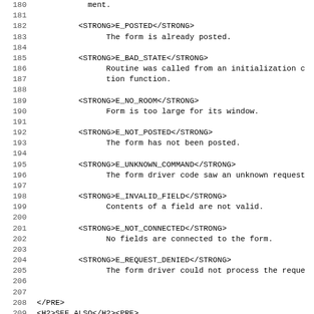Code listing lines 179-211 showing HTML/curses form driver error constants and SEE ALSO section
180: ment.
182: <STRONG>E_POSTED</STRONG>
183: The form is already posted.
185: <STRONG>E_BAD_STATE</STRONG>
186: Routine was called from an initialization c
187: tion function.
189: <STRONG>E_NO_ROOM</STRONG>
190: Form is too large for its window.
192: <STRONG>E_NOT_POSTED</STRONG>
193: The form has not been posted.
195: <STRONG>E_UNKNOWN_COMMAND</STRONG>
196: The form driver code saw an unknown request
198: <STRONG>E_INVALID_FIELD</STRONG>
199: Contents of a field are not valid.
201: <STRONG>E_NOT_CONNECTED</STRONG>
202: No fields are connected to the form.
204: <STRONG>E_REQUEST_DENIED</STRONG>
205: The form driver could not process the reque
208: </PRE>
209: <H2>SEE ALSO</H2><PRE>
210: <STRONG><A HREF="ncurses.3x.html">curses(3x)</A>
211: detailed descriptions of the entry points.